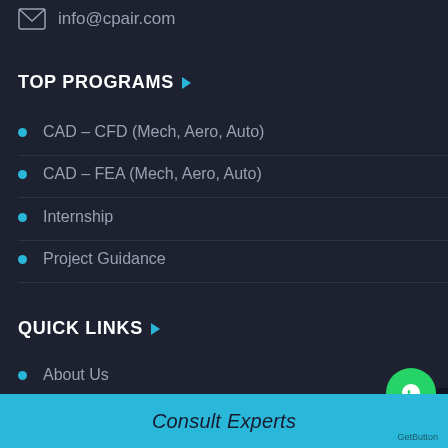info@cpair.com
TOP PROGRAMS
CAD – CFD (Mech, Aero, Auto)
CAD – FEA (Mech, Aero, Auto)
Internship
Project Guidance
QUICK LINKS
About Us
Consult Experts